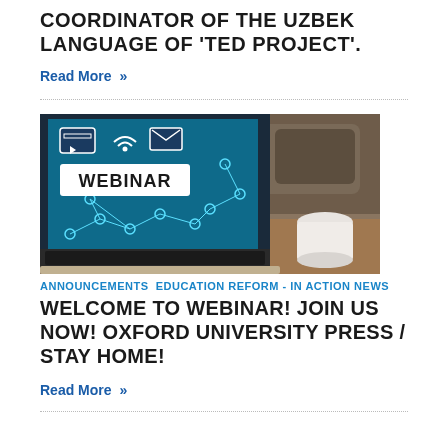COORDINATOR OF THE UZBEK LANGUAGE OF 'TED PROJECT'.
Read More »
[Figure (photo): A laptop screen displaying a 'WEBINAR' graphic with network/connectivity icons on a teal background, with a white coffee cup visible to the right on a wooden table.]
ANNOUNCEMENTS EDUCATION REFORM - IN ACTION NEWS
WELCOME TO WEBINAR! JOIN US NOW! OXFORD UNIVERSITY PRESS / STAY HOME!
Read More »